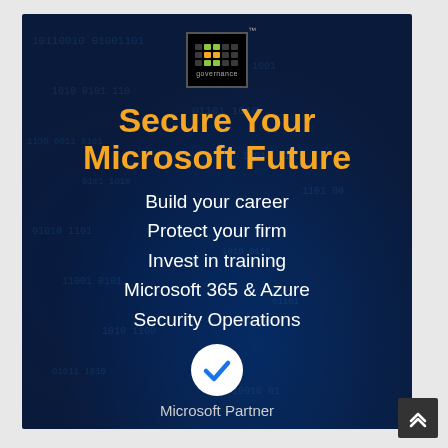[Figure (logo): IT Governance logo — black square with green/yellow dot grid and 'governance' text, with TM superscript]
Secure Your Microsoft Future
Build your career
Protect your firm
Invest in training
Microsoft 365 & Azure
Security Operations
[Figure (illustration): White circle with blue checkmark inside — Microsoft Partner verified badge]
Microsoft Partner
Book now